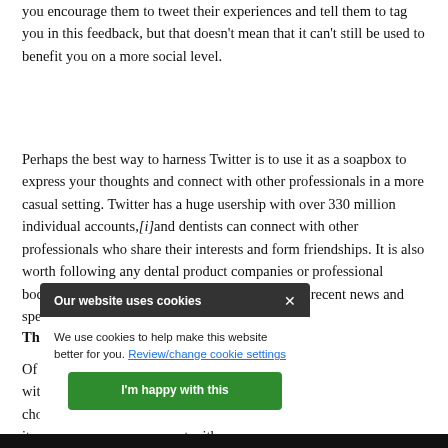you encourage them to tweet their experiences and tell them to tag you in this feedback, but that doesn't mean that it can't still be used to benefit you on a more social level.
Perhaps the best way to harness Twitter is to use it as a soapbox to express your thoughts and connect with other professionals in a more casual setting. Twitter has a huge usership with over 330 million individual accounts,[i]and dentists can connect with other professionals who share their interests and form friendships. It is also worth following any dental product companies or professional bodies, as these will often use Twitter to promote recent news and special off...
Th...
Of... l media to connect wit... n is an excellent cho... line CV it is the it... onnect with...
[Figure (screenshot): Cookie consent popup overlay with dark header reading 'Our website uses cookies' with an X close button, body text 'We use cookies to help make this website better for you. Review/change cookie settings' with a green 'I'm happy with this' button.]